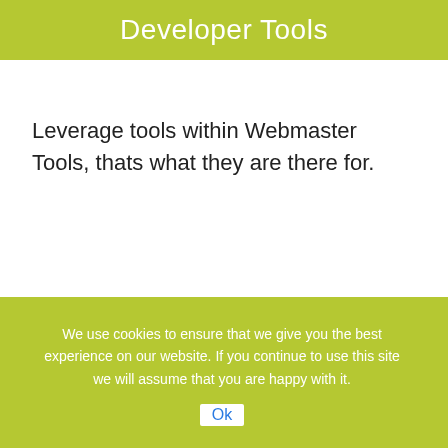Developer Tools
Leverage tools within Webmaster Tools, thats what they are there for.
We use cookies to ensure that we give you the best experience on our website. If you continue to use this site we will assume that you are happy with it.
Ok